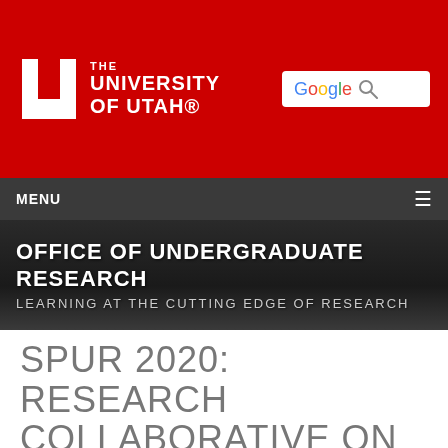[Figure (logo): University of Utah logo with red background, white block U symbol and university name text, plus Google search box]
MENU
OFFICE OF UNDERGRADUATE RESEARCH
LEARNING AT THE CUTTING EDGE OF RESEARCH
SPUR 2020: RESEARCH COLLABORATIVE ON HIGHER EDUCATION IN PRISON
Background